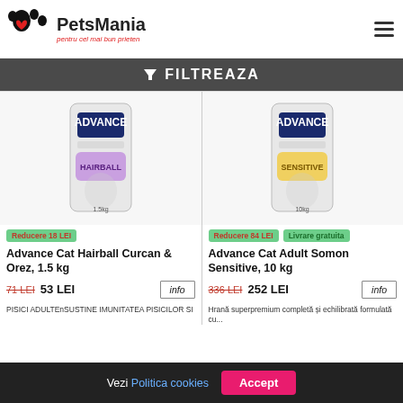PetsMania - pentru cel mai bun prieten
FILTREAZA
[Figure (photo): Advance Cat Hairball product bag (Curcan & Orez, 1.5kg) - white bag with purple Hairball label and cat illustration]
Reducere 18 LEI
Advance Cat Hairball Curcan & Orez, 1.5 kg
71 LEI 53 LEI
[Figure (photo): Advance Cat Adult Sensitive product bag (Somon, 10kg) - white bag with yellow Sensitive label and cat illustration]
Reducere 84 LEI  Livrare gratuita
Advance Cat Adult Somon Sensitive, 10 kg
336 LEI 252 LEI
PISICI ADULTEnSUSTINE IMUNITATEA PISICILOR SI...
Hrană superpremium completă și echilibrată formulată cu...
Vezi Politica cookies  Accept